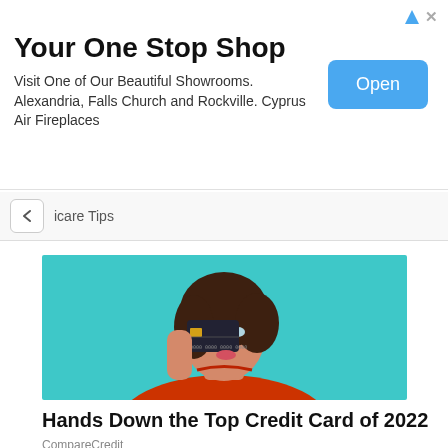[Figure (screenshot): Advertisement banner: 'Your One Stop Shop' with subtitle 'Visit One of Our Beautiful Showrooms. Alexandria, Falls Church and Rockville. Cyprus Air Fireplaces' and a blue Open button. Triangle ad icon and X close button in top right.]
icare Tips
[Figure (photo): Young woman with brown hair holding a dark credit card over her eye, wearing a red ribbed sweater, against a teal background, making a playful expression.]
Hands Down the Top Credit Card of 2022
CompareCredit